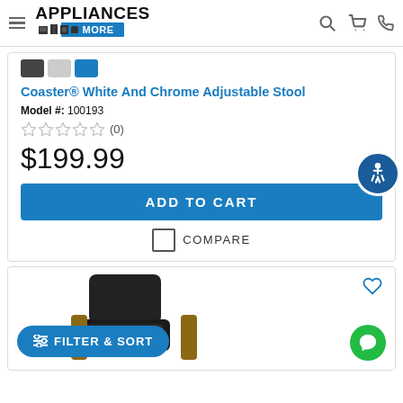Appliances & More
Coaster® White And Chrome Adjustable Stool
Model #: 100193
(0) stars rating
$199.99
ADD TO CART
COMPARE
[Figure (photo): Black leather accent chair with wooden arms, partially visible in bottom card]